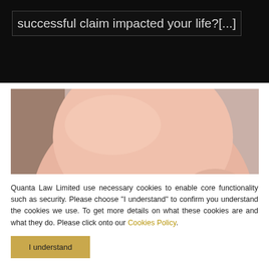successful claim impacted your life?[...]
[Figure (photo): Close-up photograph of a pink piggy bank viewed from the front/top, slightly out of focus background]
Quanta Law Limited use necessary cookies to enable core functionality such as security. Please choose “I understand” to confirm you understand the cookies we use. To get more details on what these cookies are and what they do. Please click onto our Cookies Policy.
I understand